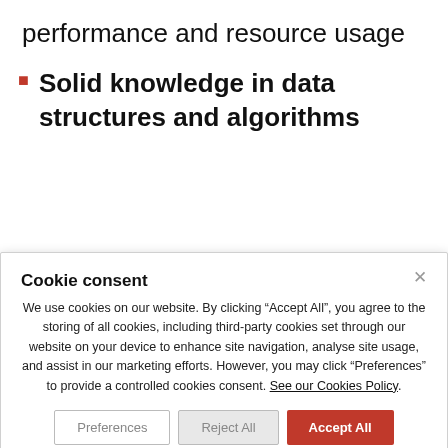performance and resource usage
Solid knowledge in data structures and algorithms
Cookie consent
We use cookies on our website. By clicking “Accept All”, you agree to the storing of all cookies, including third-party cookies set through our website on your device to enhance site navigation, analyse site usage, and assist in our marketing efforts. However, you may click “Preferences” to provide a controlled cookies consent. See our Cookies Policy.
Preferences | Reject All | Accept All
Necessary | Functional | Analytics | Performance | Advertisement
Save my preferences